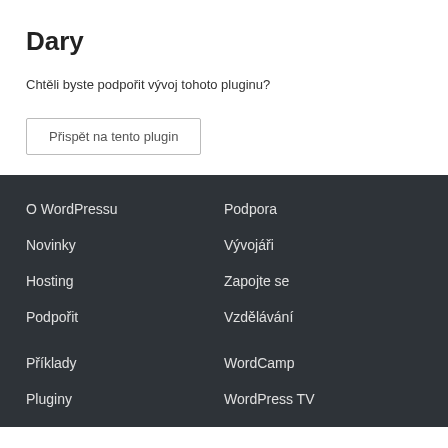Dary
Chtěli byste podpořit vývoj tohoto pluginu?
Přispět na tento plugin
O WordPressu
Podpora
Novinky
Vývojáři
Hosting
Zapojte se
Podpořit
Vzdělávání
Příklady
WordCamp
Pluginy
WordPress TV